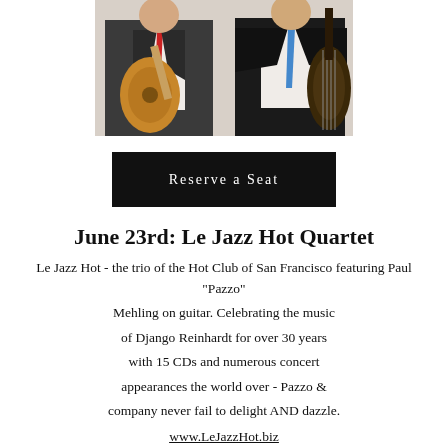[Figure (photo): Two musicians against a white background: on the left, a man in a vest and red tie holding an acoustic guitar; on the right, a man in a dark suit with a blue tie holding a double bass.]
Reserve a Seat
June 23rd: Le Jazz Hot Quartet
Le Jazz Hot - the trio of the Hot Club of San Francisco featuring Paul "Pazzo" Mehling on guitar. Celebrating the music of Django Reinhardt for over 30 years with 15 CDs and numerous concert appearances the world over - Pazzo & company never fail to delight AND dazzle.
www.LeJazzHot.biz
www.HotClubSF.com